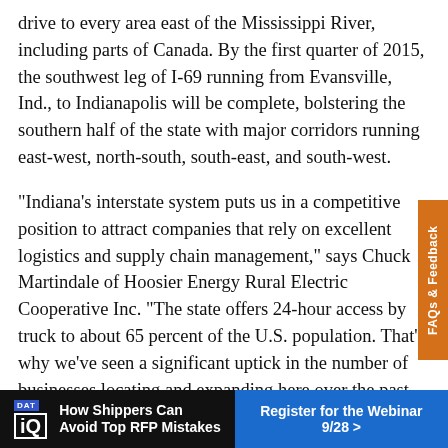drive to every area east of the Mississippi River, including parts of Canada. By the first quarter of 2015, the southwest leg of I-69 running from Evansville, Ind., to Indianapolis will be complete, bolstering the southern half of the state with major corridors running east-west, north-south, south-east, and south-west.
"Indiana's interstate system puts us in a competitive position to attract companies that rely on excellent logistics and supply chain management," says Chuck Martindale of Hoosier Energy Rural Electric Cooperative Inc. "The state offers 24-hour access by truck to about 65 percent of the U.S. population. That's why we've seen a significant uptick in the number of businesses locating and expanding here over the past several years."
[Figure (other): Advertisement banner: DAT iQ logo on black background with text 'How Shippers Can Avoid Top RFP Mistakes' and a blue button 'Register for the Webinar 9/28 >']